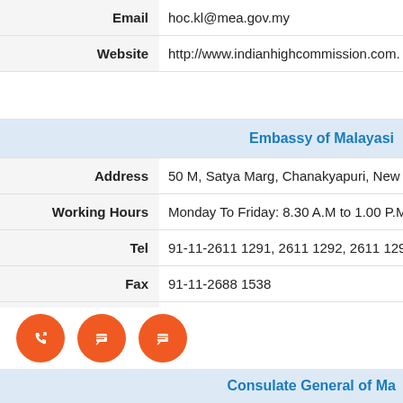| Field | Value |
| --- | --- |
| Email | hoc.kl@mea.gov.my |
| Website | http://www.indianhighcommission.com. |
|  |  |
| Embassy of Malayasi |  |
| Address | 50 M, Satya Marg, Chanakyapuri, New D |
| Working Hours | Monday To Friday: 8.30 A.M to 1.00 P.M. |
| Tel | 91-11-2611 1291, 2611 1292, 2611 1293 |
| Fax | 91-11-2688 1538 |
| Email | maldelhi@kln.gov.my |
| Website | http://www.kln.gov.my |
[Figure (infographic): Three orange circular FAB buttons at bottom left: phone/callback icon, edit/feedback icon, edit/feedback icon]
Consulate General of Ma